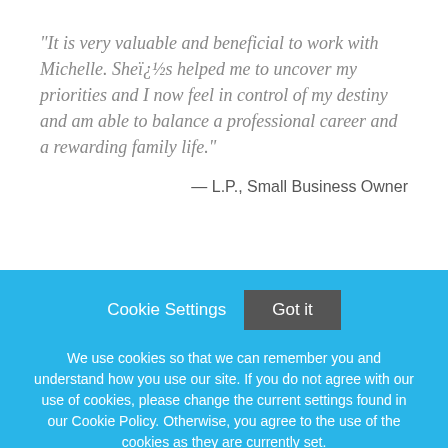"It is very valuable and beneficial to work with Michelle. Sheï¿½s helped me to uncover my priorities and I now feel in control of my destiny and am able to balance a professional career and a rewarding family life."
— L.P., Small Business Owner
Cookie Settings  Got it
We use cookies so that we can remember you and understand how you use our site. If you do not agree with our use of cookies, please change the current settings found in our Cookie Policy. Otherwise, you agree to the use of the cookies as they are currently set.